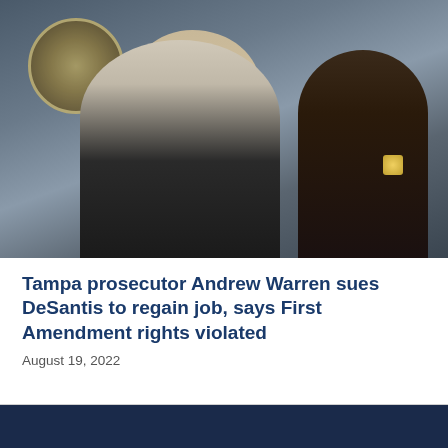[Figure (photo): Photo of Tampa prosecutor Andrew Warren standing in front of an official seal, with another official in uniform visible behind him to the right.]
Tampa prosecutor Andrew Warren sues DeSantis to regain job, says First Amendment rights violated
August 19, 2022
[Figure (logo): Charlotte County Democrats logo: blue and red wave stripes on the left, text 'CHARLOTTE COUNTY DEMOCRATS' in dark blue on the right, all inside a white rectangle with border.]
(941) 764-9449